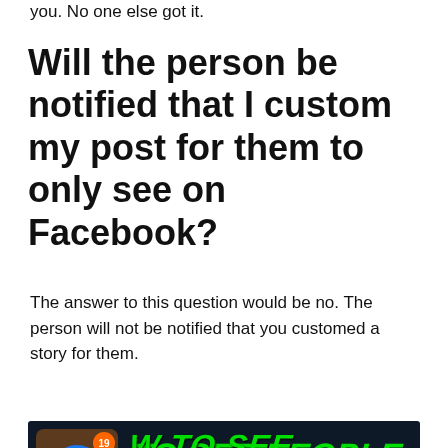you. No one else got it.
Will the person be notified that I custom my post for them to only see on Facebook?
The answer to this question would be no. The person will not be notified that you customed a story for them.
[Figure (screenshot): YouTube video thumbnail showing Facebook notification icon with badge '19' and green text reading 'HOW TO SEE PEOPLE [WHO] VIEWED YOUR [PROFILE]?' with a YouTube play button overlay]